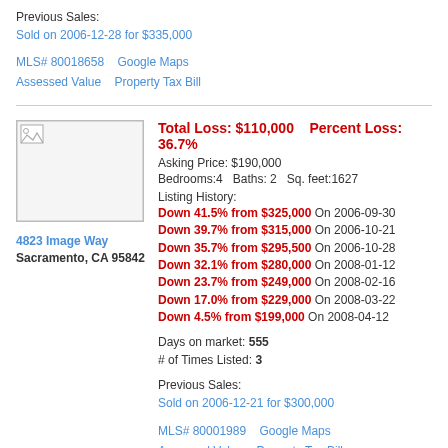Previous Sales:
Sold on 2006-12-28 for $335,000
MLS# 80018658    Google Maps
Assessed Value    Property Tax Bill
Total Loss: $110,000    Percent Loss: 36.7%
Asking Price: $190,000
Bedrooms:4   Baths: 2   Sq. feet:1627
Listing History:
Down 41.5% from $325,000 On 2006-09-30
Down 39.7% from $315,000 On 2006-10-21
Down 35.7% from $295,500 On 2006-10-28
Down 32.1% from $280,000 On 2008-01-12
Down 23.7% from $249,000 On 2008-02-16
Down 17.0% from $229,000 On 2008-03-22
Down 4.5% from $199,000 On 2008-04-12
Days on market: 555
# of Times Listed: 3
Previous Sales:
Sold on 2006-12-21 for $300,000
MLS# 80001989    Google Maps
Assessed Value    Property Tax Bill
4823 Image Way
Sacramento, CA 95842